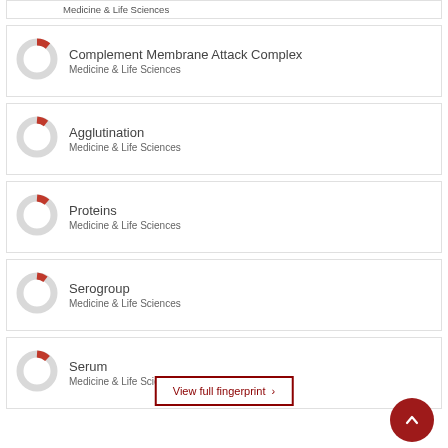Medicine & Life Sciences
Complement Membrane Attack Complex
Medicine & Life Sciences
Agglutination
Medicine & Life Sciences
Proteins
Medicine & Life Sciences
Serogroup
Medicine & Life Sciences
Serum
Medicine & Life Sciences
View full fingerprint ›